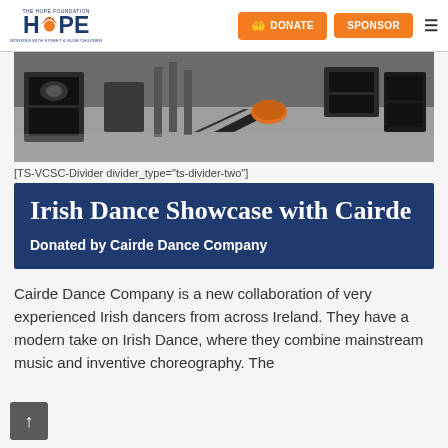THE HOPE FOUNDATION HOPE | DONATE | SPONSOR
[Figure (photo): Stage photo showing audio speakers and equipment on a concrete floor]
[TS-VCSC-Divider divider_type="ts-divider-two"]
Irish Dance Showcase with Cairde
Donated by Cairde Dance Company
Cairde Dance Company is a new collaboration of very experienced Irish dancers from across Ireland. They have a modern take on Irish Dance, where they combine mainstream music and inventive choreography. The